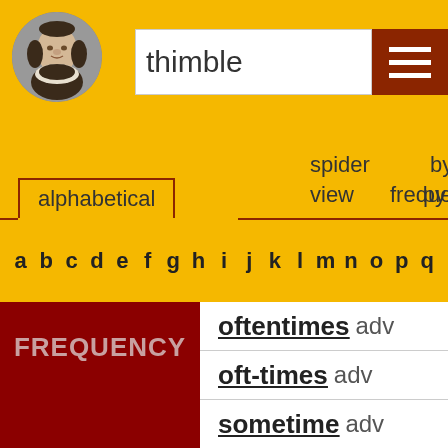[Figure (illustration): Shakespeare portrait in circular frame]
thimble
alphabetical | spider view | by frequency by
a b c d e f g h i j k l m n o p q
FREQUENCY
oftentimes adv
oft-times adv
sometime adv